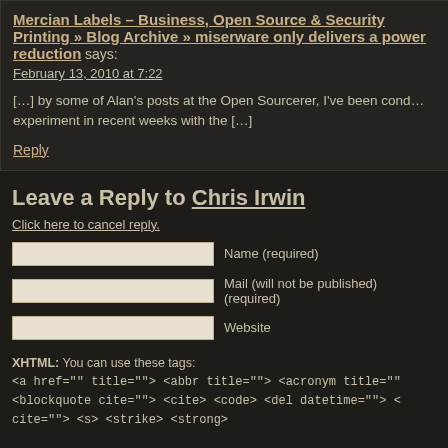Mercian Labels – Business, Open Source & Security Printing » Blog Archive » miserware only delivers a power reduction says:
February 13, 2010 at 7:22
[…] by some of Alan's posts at the Open Sourcerer, I've been cond… experiment in recent weeks with the […]
Reply
Leave a Reply to Chris Irwin
Click here to cancel reply.
Name (required)
Mail (will not be published) (required)
Website
XHTML: You can use these tags: <a href="" title=""> <abbr title=""> <acronym title=""> <blockquote cite=""> <cite> <code> <del datetime=""> < cite=""> <s> <strike> <strong>